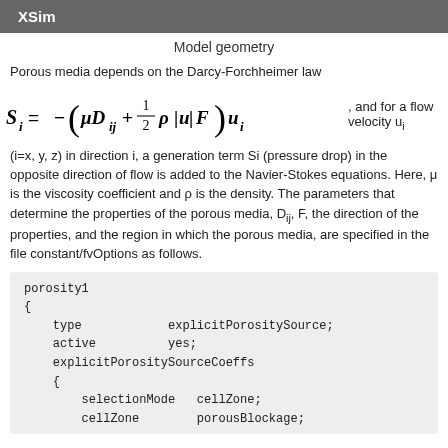XSim
Model geometry
Porous media depends on the Darcy-Forchheimer law
(i=x, y, z) in direction i, a generation term Si (pressure drop) in the opposite direction of flow is added to the Navier-Stokes equations. Here, μ is the viscosity coefficient and ρ is the density. The parameters that determine the properties of the porous media, D_ij, F, the direction of the properties, and the region in which the porous media, are specified in the file constant/fvOptions as follows.
porosity1
{
    type            explicitPorositySource;
    active          yes;
    explicitPorositySourceCoeffs
    {
        selectionMode   cellZone;
        cellZone        porousBlockage;